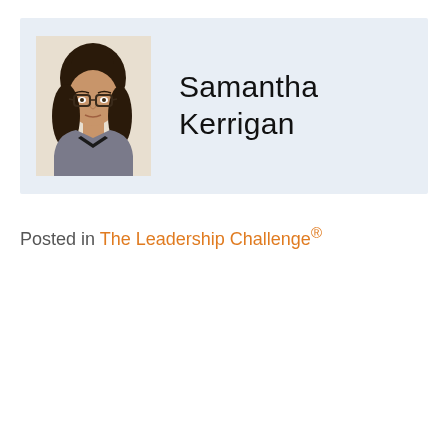[Figure (photo): Headshot photo of Samantha Kerrigan, a woman with long dark hair and glasses, wearing a gray cardigan over a dark top, against a light background.]
Samantha Kerrigan
Posted in The Leadership Challenge®